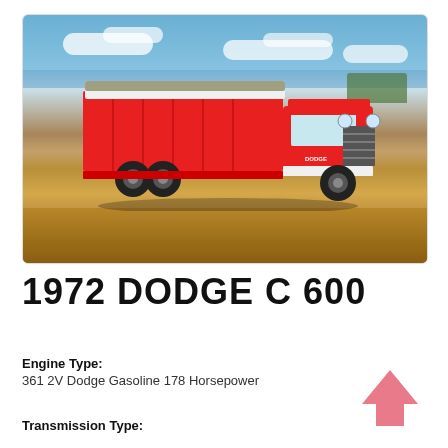[Figure (photo): A red 1972 Dodge C 600 grain truck parked in a harvested corn/wheat field with a blue sky and clouds in the background. The truck has a red cab and a red grain box with a tarp cover.]
1972 DODGE C 600
Engine Type:
361 2V Dodge Gasoline 178 Horsepower
Transmission Type: